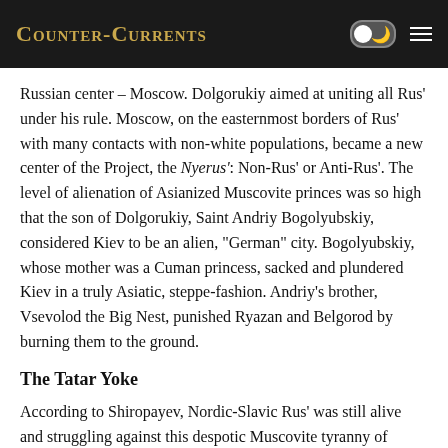Counter-Currents
Russian center – Moscow. Dolgorukiy aimed at uniting all Rus' under his rule. Moscow, on the easternmost borders of Rus' with many contacts with non-white populations, became a new center of the Project, the Nyerus': Non-Rus' or Anti-Rus'. The level of alienation of Asianized Muscovite princes was so high that the son of Dolgorukiy, Saint Andriy Bogolyubskiy, considered Kiev to be an alien, "German" city. Bogolyubskiy, whose mother was a Cuman princess, sacked and plundered Kiev in a truly Asiatic, steppe-fashion. Andriy's brother, Vsevolod the Big Nest, punished Ryazan and Belgorod by burning them to the ground.
The Tatar Yoke
According to Shiropayev, Nordic-Slavic Rus' was still alive and struggling against this despotic Muscovite tyranny of